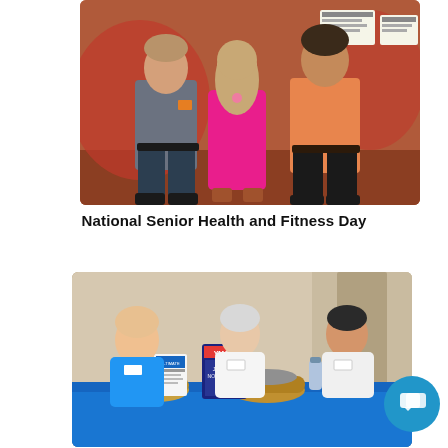[Figure (photo): Three people standing together posing for a photo inside a building. A man in a gray polo shirt on the left, a woman in a pink dress in the center, and a man in an orange button-up shirt on the right. Background shows red/orange inflatable structures and printed signs.]
National Senior Health and Fitness Day
[Figure (photo): Three women seated at a registration/information table with a blue tablecloth. They are smiling at the camera. On the table are YMCA materials, brochures, baskets, and promotional items. A YMCA sign is visible in the background.]